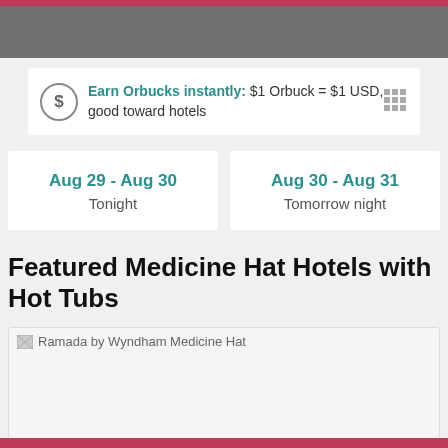Earn Orbucks instantly: $1 Orbuck = $1 USD, good toward hotels
Aug 29 - Aug 30
Tonight
Aug 30 - Aug 31
Tomorrow night
Featured Medicine Hat Hotels with Hot Tubs
[Figure (photo): Ramada by Wyndham Medicine Hat hotel photo placeholder]